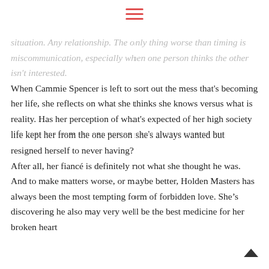≡
situation. Any relationship. The only thing worse than timing is miscommunication, especially when one person thinks the other isn't interested.
When Cammie Spencer is left to sort out the mess that's becoming her life, she reflects on what she thinks she knows versus what is reality. Has her perception of what's expected of her high society life kept her from the one person she's always wanted but resigned herself to never having?
After all, her fiancé is definitely not what she thought he was. And to make matters worse, or maybe better, Holden Masters has always been the most tempting form of forbidden love. She's discovering he also may very well be the best medicine for her broken heart